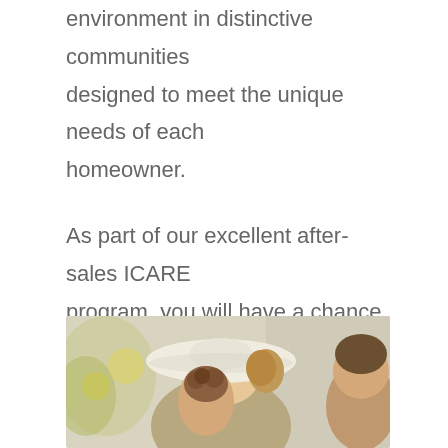environment in distinctive communities designed to meet the unique needs of each homeowner.

As part of our excellent after-sales ICARE program, you will have a chance to visit our Decor Studio and meet with one of our expert designers to help you discover what inspires you. Park District is a place to show off your creative side, and ICON makes it easy.
[Figure (photo): Photo of a woman in a wide-brimmed white hat hugging a young girl with curly hair, with another child visible at the right edge. Outdoor setting with soft natural lighting.]